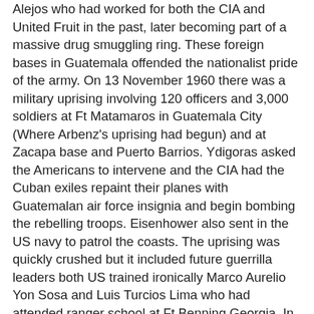Alejos who had worked for both the CIA and United Fruit in the past, later becoming part of a massive drug smuggling ring. These foreign bases in Guatemala offended the nationalist pride of the army. On 13 November 1960 there was a military uprising involving 120 officers and 3,000 soldiers at Ft Matamaros in Guatemala City (Where Arbenz's uprising had begun) and at Zacapa base and Puerto Barrios. Ydigoras asked the Americans to intervene and the CIA had the Cuban exiles repaint their planes with Guatemalan air force insignia and begin bombing the rebelling troops. Eisenhower also sent in the US navy to patrol the coasts. The uprising was quickly crushed but it included future guerrilla leaders both US trained ironically Marco Aurelio Yon Sosa and Luis Turcios Lima who had attended ranger school at Ft Benning Georgia. In 1962 they would return from exile launching an unsuccessful offensive that inspired massive demonstrations and strikes in Guatemala City. In March of 1962,20 student demonstrators were killed further enraging the populace and soon 3 political parties including the far right MLN were demanding Ydigoras resignation. The same month Ydigoras replaced his entire cabinet, except the Foreign Minister, with military officers. While all this was going on the CIA, the Pentagon and OPS (Office of Public